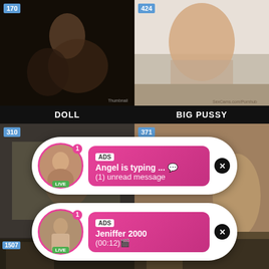[Figure (screenshot): Adult webcam/video grid screenshot with two rows. Top row shows two video thumbnails labeled DOLL (viewer count 170) and BIG PUSSY (viewer count 424). Bottom section shows two more thumbnails (viewer counts 310 and 371) overlaid with two notification popups styled as chat bubbles: first says ADS / Angel is typing ... / (1) unread message; second says ADS / Jeniffer 2000 / (00:12). Bottom strip shows thumbnails with viewer counts 1507 and 170.]